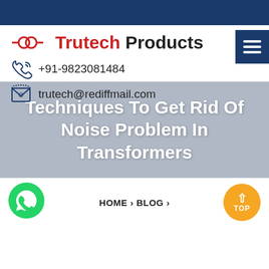[Figure (logo): Trutech Products logo with red interconnected rings icon and company name in red and black]
+91-9823081484
trutech@rediffmail.com
Techniques To Get Rid Of Noise Problem In Transformers
HOME › BLOG ›